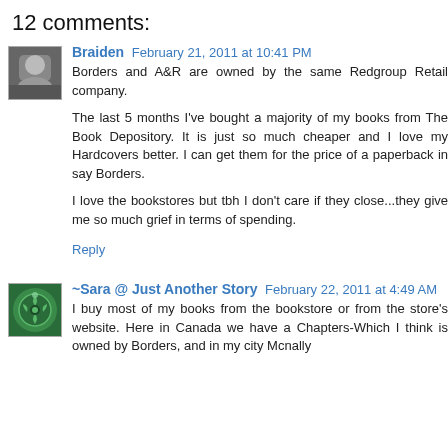12 comments:
Braiden February 21, 2011 at 10:41 PM
Borders and A&R are owned by the same Redgroup Retail company.

The last 5 months I've bought a majority of my books from The Book Depository. It is just so much cheaper and I love my Hardcovers better. I can get them for the price of a paperback in say Borders.

I love the bookstores but tbh I don't care if they close...they give me so much grief in terms of spending.
Reply
~Sara @ Just Another Story February 22, 2011 at 4:49 AM
I buy most of my books from the bookstore or from the store's website. Here in Canada we have a Chapters-Which I think is owned by Borders, and in my city Mcnally